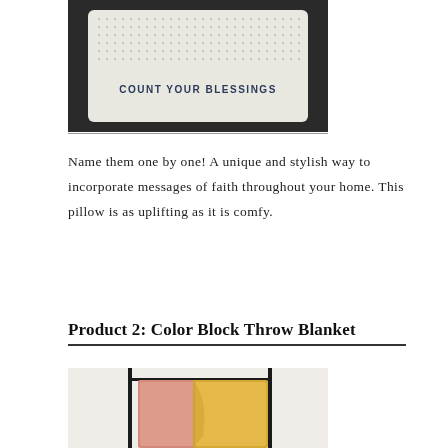[Figure (photo): A white decorative pillow with a grid/dot pattern and text 'COUNT YOUR BLESSINGS' on a dark sofa background]
Name them one by one! A unique and stylish way to incorporate messages of faith throughout your home. This pillow is as uplifting as it is comfy.
Product 2: Color Block Throw Blanket
[Figure (photo): Colorful throw blankets in pink/peach and yellow/mustard colors draped over a black metal rack against a white wall]